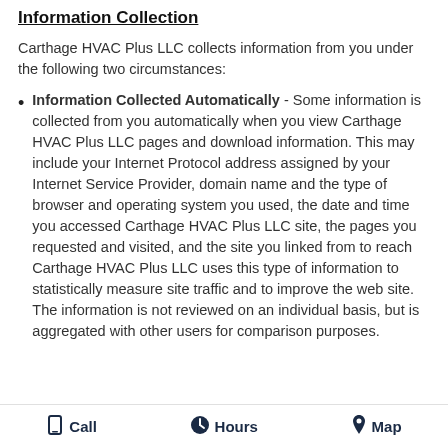Information Collection
Carthage HVAC Plus LLC collects information from you under the following two circumstances:
Information Collected Automatically - Some information is collected from you automatically when you view Carthage HVAC Plus LLC pages and download information. This may include your Internet Protocol address assigned by your Internet Service Provider, domain name and the type of browser and operating system you used, the date and time you accessed Carthage HVAC Plus LLC site, the pages you requested and visited, and the site you linked from to reach Carthage HVAC Plus LLC uses this type of information to statistically measure site traffic and to improve the web site. The information is not reviewed on an individual basis, but is aggregated with other users for comparison purposes.
Call   Hours   Map